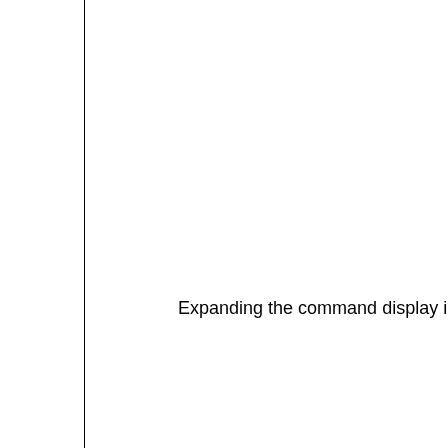Expanding the command display in